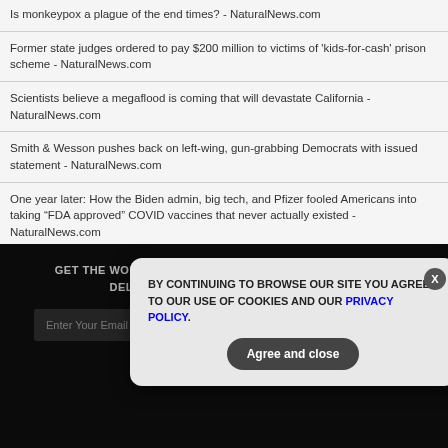Is monkeypox a plague of the end times? - NaturalNews.com
Former state judges ordered to pay $200 million to victims of 'kids-for-cash' prison scheme - NaturalNews.com
Scientists believe a megaflood is coming that will devastate California - NaturalNews.com
Smith & Wesson pushes back on left-wing, gun-grabbing Democrats with issued statement - NaturalNews.com
One year later: How the Biden admin, big tech, and Pfizer fooled Americans into taking “FDA approved” COVID vaccines that never actually existed - NaturalNews.com
GET THE WORLD'S BEST NATURAL HEALTH NEWSLETTER DELIVERED STRAIGHT TO YOUR INBOX
BY CONTINUING TO BROWSE OUR SITE YOU AGREE TO OUR USE OF COOKIES AND OUR PRIVACY POLICY.
Agree and close